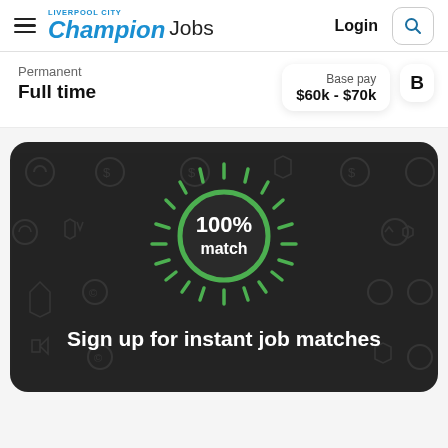Liverpool City Champion Jobs | Login
Permanent
Full time
Base pay $60k - $70k
[Figure (infographic): Dark rounded rectangle panel with 100% match circle graphic surrounded by radiating green tick marks, on a dark background with faint job-category icons. Text below reads 'Sign up for instant job matches']